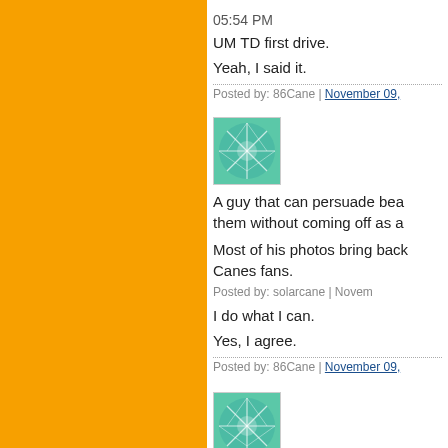05:54 PM
UM TD first drive.
Yeah, I said it.
Posted by: 86Cane | November 09,
[Figure (illustration): Teal/green decorative avatar image with leaf/feather pattern]
A guy that can persuade bea them without coming off as a
Most of his photos bring back Canes fans.
Posted by: solarcane | Novem
I do what I can.
Yes, I agree.
Posted by: 86Cane | November 09,
[Figure (illustration): Teal/green decorative avatar image with leaf/feather pattern]
NEW BLOG IS UP!
Posted by: 86Cane | November 09,